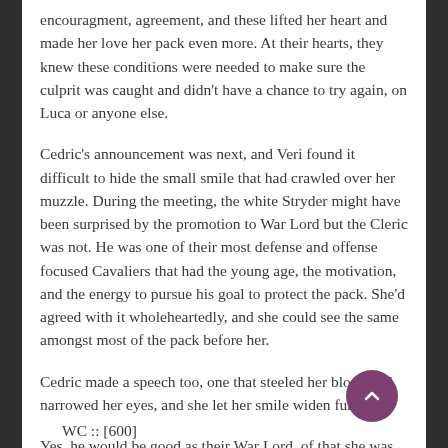encouragment, agreement, and these lifted her heart and made her love her pack even more. At their hearts, they knew these conditions were needed to make sure the culprit was caught and didn't have a chance to try again, on Luca or anyone else.
Cedric's announcement was next, and Veri found it difficult to hide the small smile that had crawled over her muzzle. During the meeting, the white Stryder might have been surprised by the promotion to War Lord but the Cleric was not. He was one of their most defense and offense focused Cavaliers that had the young age, the motivation, and the energy to pursue his goal to protect the pack. She'd agreed with it wholeheartedly, and she could see the same amongst most of the pack before her.
Cedric made a speech too, one that steeled her blood and narrowed her eyes, and she let her smile widen further.
Yes, he would be good as their War Lord, of that she was absolutely certain.
WC :: [600]